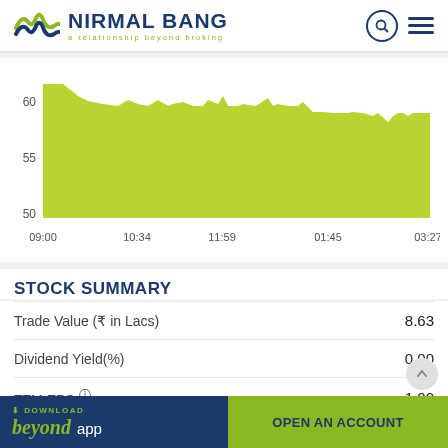NIRMAL BANG — a relationship beyond broking
[Figure (area-chart): Stock Price Chart]
STOCK SUMMARY
| Metric | Value |
| --- | --- |
| Trade Value (₹ in Lacs) | 8.63 |
| Dividend Yield(%) | 0.00 |
| TTM EPS ⓘ | 1.00 |
DOWNLOAD beyond app
OPEN AN ACCOUNT